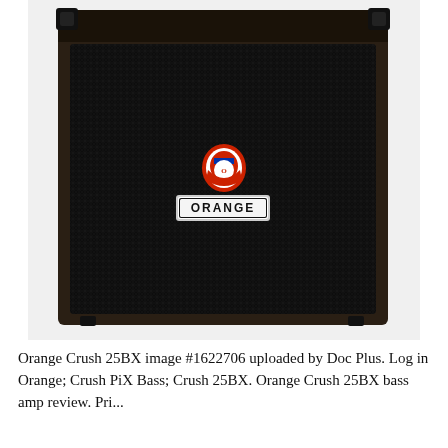[Figure (photo): Front view of an Orange Crush 25BX bass guitar amplifier cabinet. The cabinet has a dark brown/black exterior with black metal corner protectors at the top and rubber feet at the bottom. The front face is covered with a dark black diamond-pattern speaker grille cloth. In the center of the grille is the Orange logo badge (a heraldic shield in red/white/blue with a graphic figure) above a rectangular silver-bordered badge reading 'ORANGE' in bold black letters on white background.]
Orange Crush 25BX image #1622706 uploaded by Doc Plus. Log in Orange; Crush PiX Bass; Crush 25BX. Orange Crush 25BX bass amp review. Price...